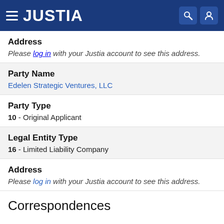JUSTIA
Address
Please log in with your Justia account to see this address.
Party Name
Edelen Strategic Ventures, LLC
Party Type
10 - Original Applicant
Legal Entity Type
16 - Limited Liability Company
Address
Please log in with your Justia account to see this address.
Correspondences